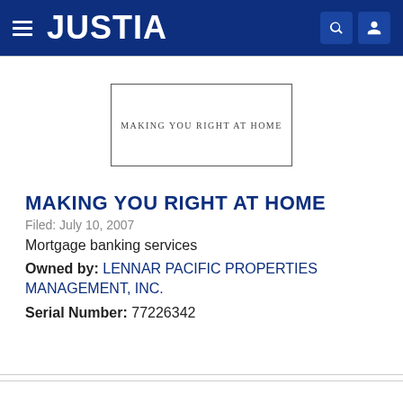[Figure (logo): Justia website navigation bar with hamburger menu, JUSTIA logo in white on dark blue background, and search/user icons]
[Figure (other): Trademark image: a rectangle with text 'MAKING YOU RIGHT AT HOME' in small spaced serif letters]
MAKING YOU RIGHT AT HOME
Filed: July 10, 2007
Mortgage banking services
Owned by: LENNAR PACIFIC PROPERTIES MANAGEMENT, INC.
Serial Number: 77226342